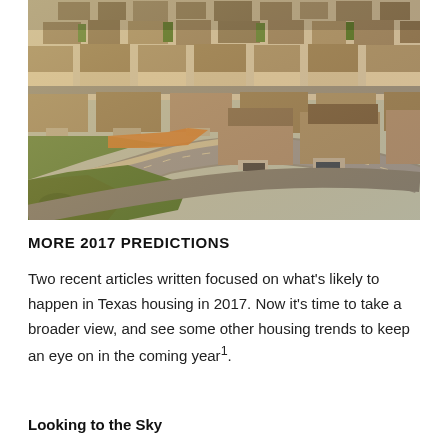[Figure (photo): Aerial drone photograph of a suburban residential neighborhood in Texas, showing rows of houses, driveways, streets, and green lawns at golden hour lighting.]
MORE 2017 PREDICTIONS
Two recent articles written focused on what's likely to happen in Texas housing in 2017. Now it's time to take a broader view, and see some other housing trends to keep an eye on in the coming year¹.
Looking to the Sky